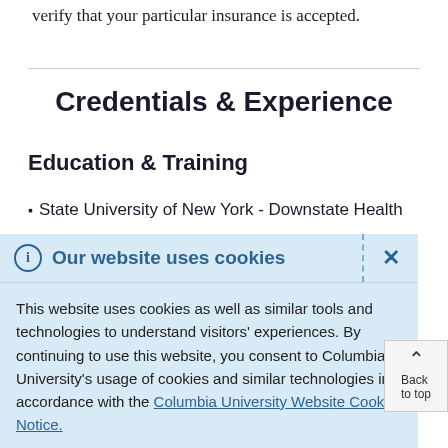verify that your particular insurance is accepted.
Credentials & Experience
Education & Training
State University of New York - Downstate Health
Our website uses cookies
This website uses cookies as well as similar tools and technologies to understand visitors' experiences. By continuing to use this website, you consent to Columbia University's usage of cookies and similar technologies in accordance with the Columbia University Website Cookie Notice.